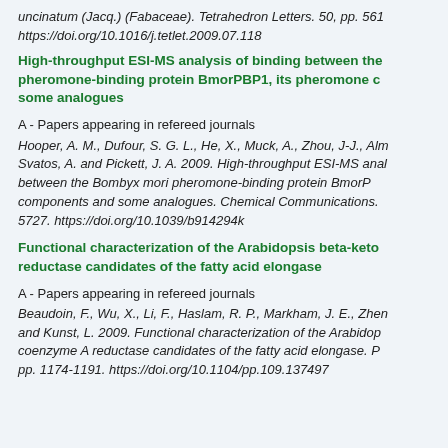uncinatum (Jacq.) (Fabaceae). Tetrahedron Letters. 50, pp. 561 https://doi.org/10.1016/j.tetlet.2009.07.118
High-throughput ESI-MS analysis of binding between the pheromone-binding protein BmorPBP1, its pheromone components and some analogues
A - Papers appearing in refereed journals
Hooper, A. M., Dufour, S. G. L., He, X., Muck, A., Zhou, J-J., Alm Svatos, A. and Pickett, J. A. 2009. High-throughput ESI-MS analysis between the Bombyx mori pheromone-binding protein BmorPBP1 its pheromone components and some analogues. Chemical Communications. 5727. https://doi.org/10.1039/b914294k
Functional characterization of the Arabidopsis beta-ketoacyl-coenzyme A reductase candidates of the fatty acid elongase
A - Papers appearing in refereed journals
Beaudoin, F., Wu, X., Li, F., Haslam, R. P., Markham, J. E., Zheng and Kunst, L. 2009. Functional characterization of the Arabidopsis beta-ketoacyl-coenzyme A reductase candidates of the fatty acid elongase. pp. 1174-1191. https://doi.org/10.1104/pp.109.137497